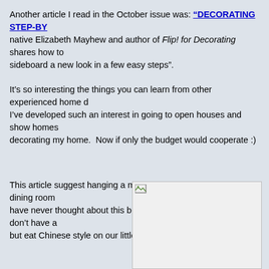Another article I read in the October issue was: "DECORATING STEP-BY-STEP" native Elizabeth Mayhew and author of Flip! for Decorating shares how to sideboard a new look in a few easy steps".
It's so interesting the things you can learn from other experienced home d... I've developed such an interest in going to open houses and show homes decorating my home.  Now if only the budget would cooperate :)
This article suggest hanging a mirror and frame photos in the dining room have never thought about this before. Maybe it's because we don't have a but eat Chinese style on our little table in the living room? :)
[Figure (photo): A broken/missing image placeholder with a small image icon in the top-left corner and a white/light gray rectangle representing an unloaded image.]